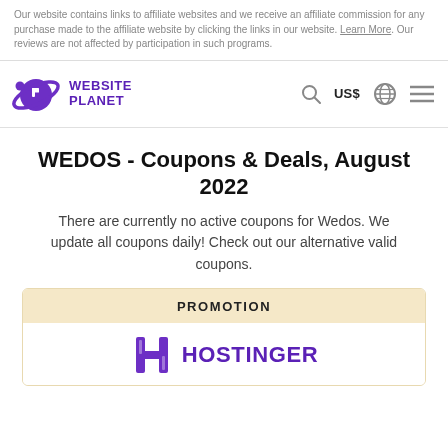Our website contains links to affiliate websites and we receive an affiliate commission for any purchase made to the affiliate website by clicking the links in our website. Learn More. Our reviews are not affected by participation in such programs.
[Figure (logo): Website Planet logo — purple planet/satellite icon with WEBSITE PLANET text in purple]
WEDOS - Coupons & Deals, August 2022
There are currently no active coupons for Wedos. We update all coupons daily! Check out our alternative valid coupons.
PROMOTION
[Figure (logo): Hostinger logo — purple H icon with HOSTINGER text in purple]